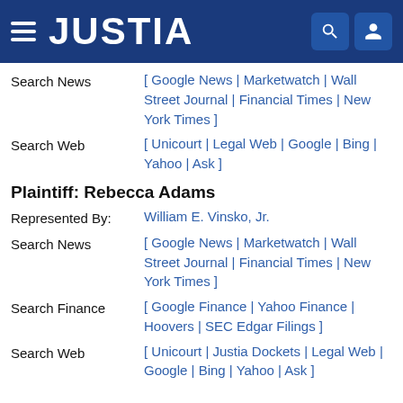JUSTIA
Search News [ Google News | Marketwatch | Wall Street Journal | Financial Times | New York Times ]
Search Web [ Unicourt | Legal Web | Google | Bing | Yahoo | Ask ]
Plaintiff: Rebecca Adams
Represented By: William E. Vinsko, Jr.
Search News [ Google News | Marketwatch | Wall Street Journal | Financial Times | New York Times ]
Search Finance [ Google Finance | Yahoo Finance | Hoovers | SEC Edgar Filings ]
Search Web [ Unicourt | Justia Dockets | Legal Web | Google | Bing | Yahoo | Ask ]